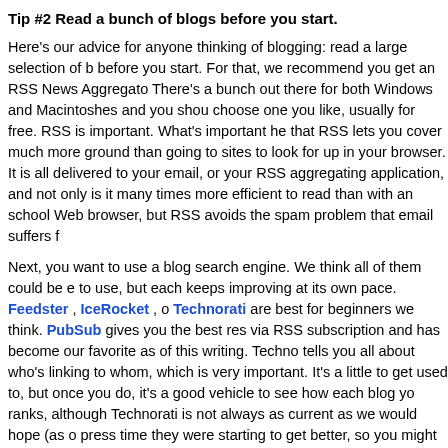Tip #2 Read a bunch of blogs before you start.
Here's our advice for anyone thinking of blogging: read a large selection of blogs before you start. For that, we recommend you get an RSS News Aggregator. There's a bunch out there for both Windows and Macintoshes and you should choose one you like, usually for free. RSS is important. What's important here is that RSS lets you cover much more ground than going to sites to look for updates in your browser. It is all delivered to your email, or your RSS aggregating application, and not only is it many times more efficient to read than with an old school Web browser, but RSS avoids the spam problem that email suffers from.
Next, you want to use a blog search engine. We think all of them could be easier to use, but each keeps improving at its own pace. Feedster , IceRocket , or Technorati are best for beginners we think. PubSub gives you the best results via RSS subscription and has become our favorite as of this writing. Technorati tells you all about who's linking to whom, which is very important. It's a little hard to get used to, but once you do, it's a good vehicle to see how each blog you ranks, although Technorati is not always as current as we would hope (as of press time they were starting to get better, so you might want to do your own comparisons to see which service works best for you). You also can use an old-fashioned search engine if you remember to always type in the word "blog." What you miss in traditional search engines is  currency. It often takes a couple of weeks for the search engines to pick up a new blog. That is changing, however. With some of the new engines you can be listed in a matter of days, or even